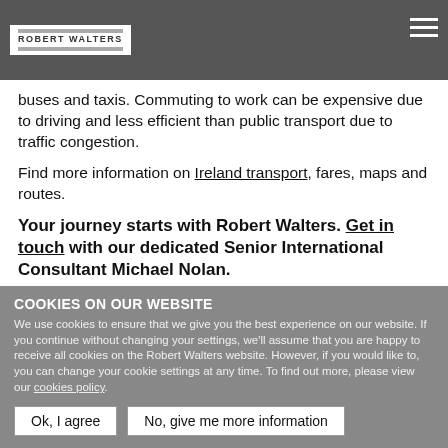ROBERT WALTERS
buses and taxis. Commuting to work can be expensive due to driving and less efficient than public transport due to traffic congestion.
Find more information on Ireland transport, fares, maps and routes.
Your journey starts with Robert Walters. Get in touch with our dedicated Senior International Consultant Michael Nolan.
Return to the homepage.
COOKIES ON OUR WEBSITE
We use cookies to ensure that we give you the best experience on our website. If you continue without changing your settings, we'll assume that you are happy to receive all cookies on the Robert Walters website. However, if you would like to, you can change your cookie settings at any time. To find out more, please view our cookies policy.
Ok, I agree | No, give me more information